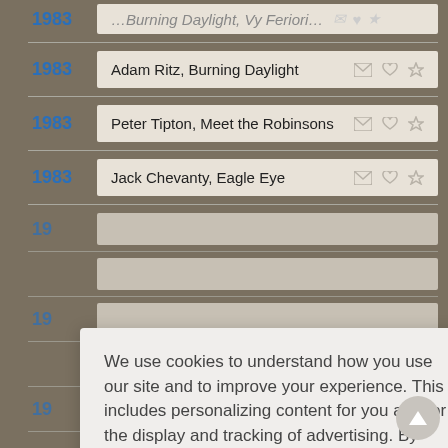1983 — Adam Ritz, Burning Daylight
1983 — Peter Tipton, Meet the Robinsons
1983 — Jack Chevanty, Eagle Eye
We use cookies to understand how you use our site and to improve your experience. This includes personalizing content for you and for the display and tracking of advertising. By continuing to use our site, you accept and agree to our use of cookies. Privacy Policy
Got it!